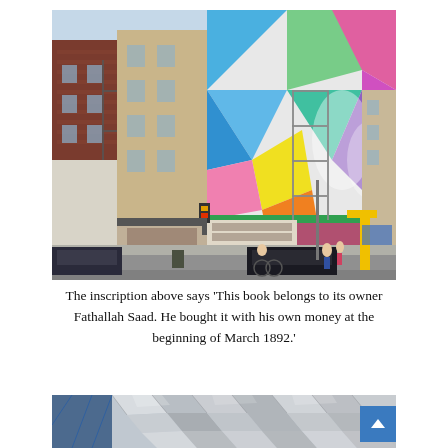[Figure (photo): Street-level photograph of urban buildings in New York City. Red brick buildings on the left with fire escapes. A tan/beige building in the center. On the right side, a large colorful geometric mural covers the side of a building, featuring bright colors including blue, green, orange, pink, yellow, with abstract shapes and hands. A fire escape is visible on the mural building. Street level shows cars, pedestrians, traffic lights, a bicycle, and storefronts.]
The inscription above says 'This book belongs to its owner Fathallah Saad. He bought it with his own money at the beginning of March 1892.'
[Figure (photo): Close-up photograph of a modern building exterior featuring shiny metallic faceted panels or tiles arranged in a geometric pattern, with blue glass visible on the left side. The metallic surface reflects light with a silvery appearance.]